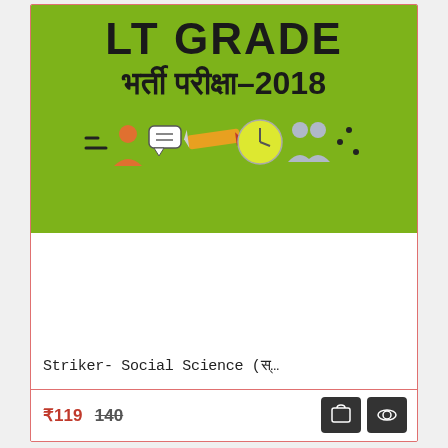[Figure (illustration): Book cover with green background showing 'LT GRADE' in large bold black text, Hindi text 'भर्ती परीक्षा-2018' below it, and small icons of people, chat bubble, and pencil at the bottom.]
Striker- Social Science (स�...
₹119 140